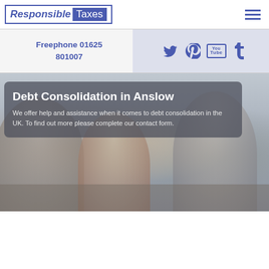[Figure (logo): Responsible Taxes logo with blue border and blue/white text]
Freephone 01625 801007
[Figure (infographic): Social media icons: Twitter, Pinterest, YouTube, Tumblr in blue]
[Figure (photo): Background photo of people at a desk in a consultation meeting, with semi-transparent dark overlay containing title and description text]
Debt Consolidation in Anslow
We offer help and assistance when it comes to debt consolidation in the UK. To find out more please complete our contact form.